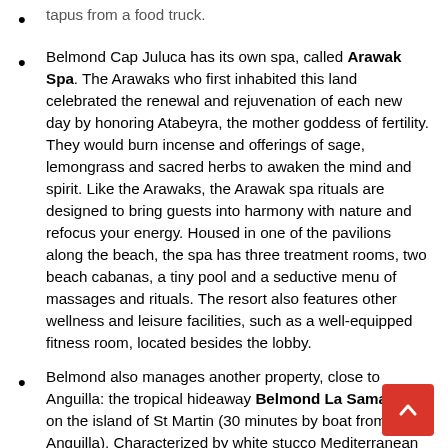tapus from a food truck.
Belmond Cap Juluca has its own spa, called Arawak Spa. The Arawaks who first inhabited this land celebrated the renewal and rejuvenation of each new day by honoring Atabeyra, the mother goddess of fertility. They would burn incense and offerings of sage, lemongrass and sacred herbs to awaken the mind and spirit. Like the Arawaks, the Arawak spa rituals are designed to bring guests into harmony with nature and refocus your energy. Housed in one of the pavilions along the beach, the spa has three treatment rooms, two beach cabanas, a tiny pool and a seductive menu of massages and rituals. The resort also features other wellness and leisure facilities, such as a well-equipped fitness room, located besides the lobby.
Belmond also manages another property, close to Anguilla: the tropical hideaway Belmond La Samanna on the island of St Martin (30 minutes by boat from Anguilla). Characterized by white stucco Mediterranean archite... adorned with lush tropical foliage, Belmond La Samanna is